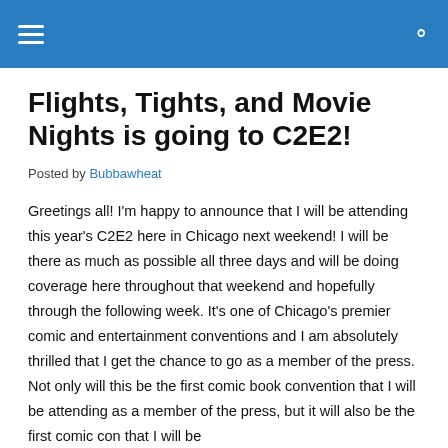≡  🔍
Flights, Tights, and Movie Nights is going to C2E2!
Posted by Bubbawheat
Greetings all! I'm happy to announce that I will be attending this year's C2E2 here in Chicago next weekend! I will be there as much as possible all three days and will be doing coverage here throughout that weekend and hopefully through the following week. It's one of Chicago's premier comic and entertainment conventions and I am absolutely thrilled that I get the chance to go as a member of the press. Not only will this be the first comic book convention that I will be attending as a member of the press, but it will also be the first comic con that I will be